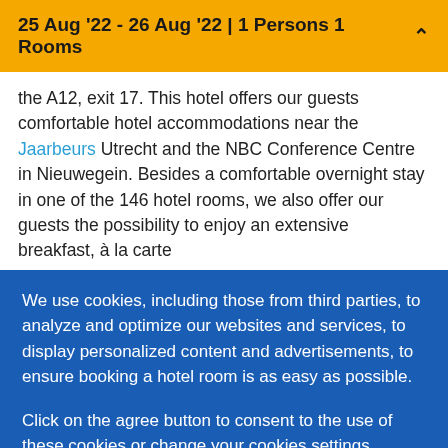25 Aug '22 - 26 Aug '22 | 1 Persons 1 Rooms
the A12, exit 17. This hotel offers our guests comfortable hotel accommodations near the Jaarbeurs Utrecht and the NBC Conference Centre in Nieuwegein. Besides a comfortable overnight stay in one of the 146 hotel rooms, we also offer our guests the possibility to enjoy an extensive breakfast, à la carte
We use cookies, including those from third parties, to analyze and optimize our websites and services, to display personalized content and advertisements, to ensure booking a hotel room is as easy as possible.
Click on the agree button to consent to the use of these cookies or change your cookies settings.
Agree | Decline